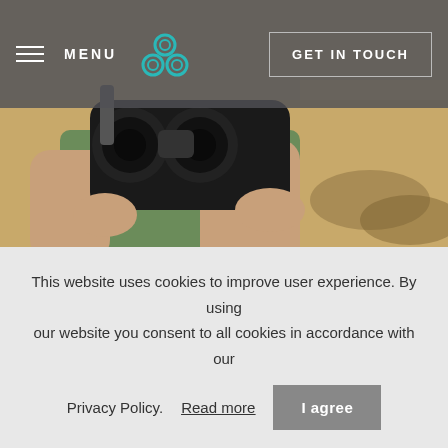MENU | GET IN TOUCH
[Figure (photo): Person holding binoculars, viewed from behind/side, outdoors in arid scrubland landscape]
Day 4
Private Horse trekking (1.5 hour)
As a relaxed way to end your weekend, head out for a morning ride exploring the farm land of The Landing.
This website uses cookies to improve user experience. By using our website you consent to all cookies in accordance with our Privacy Policy. Read more  I agree